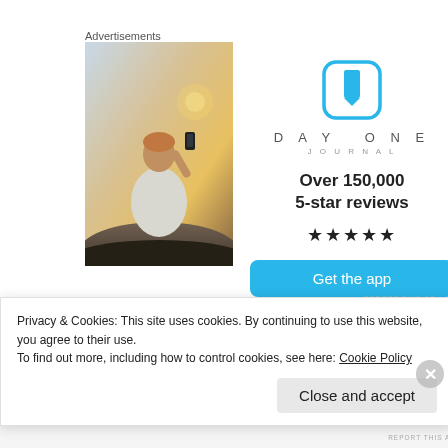Advertisements
[Figure (photo): Person sitting on rocks photographing sunset with smartphone, viewed from behind, wearing white shirt]
[Figure (logo): Day One Journal app icon - blue square with bookmark symbol, and DAY ONE JOURNAL text]
Over 150,000 5-star reviews
★★★★★
Get the app
REPORT THIS AD
[Figure (photo): User avatar - blurred/grayscale portrait photo]
thefirstdark
Privacy & Cookies: This site uses cookies. By continuing to use this website, you agree to their use.
To find out more, including how to control cookies, see here: Cookie Policy
Close and accept